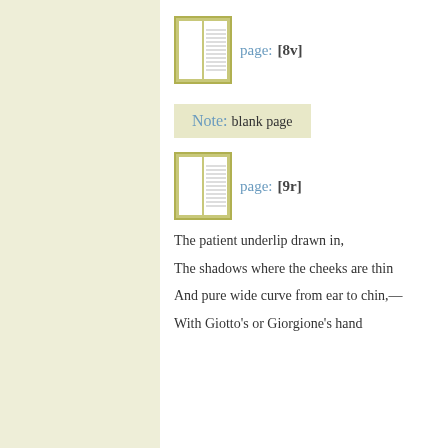[Figure (illustration): Small book icon showing an open book with text on the right page, bordered in olive/yellow-green, representing page 8v]
page: [8v]
Note: blank page
[Figure (illustration): Small book icon showing an open book with text on the right page, bordered in olive/yellow-green, representing page 9r]
page: [9r]
The patient underlip drawn in,
The shadows where the cheeks are thin
And pure wide curve from ear to chin,—
With Giotto's or Giorgione's hand